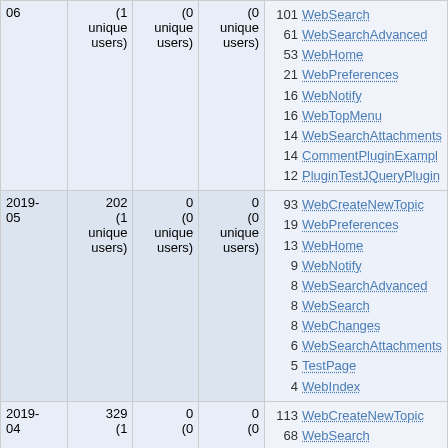| Date | Views | Edits | Contrib. | Top Pages |
| --- | --- | --- | --- | --- |
| 2019-06 | 101 (1 unique users) | 0 (0 unique users) | 0 (0 unique users) | 101 WebCreateNewTopic, 101 WebSearch, 61 WebSearchAdvanced, 53 WebHome, 21 WebPreferences, 16 WebNotify, 16 WebTopMenu, 14 WebSearchAttachments, 14 CommentPluginExample, 12 PluginTestJQueryPlugin |
| 2019-05 | 202 (1 unique users) | 0 (0 unique users) | 0 (0 unique users) | 93 WebCreateNewTopic, 19 WebPreferences, 13 WebHome, 9 WebNotify, 8 WebSearchAdvanced, 8 WebSearch, 8 WebChanges, 6 WebSearchAttachments, 5 TestPage, 4 WebIndex |
| 2019-04 | 329 (1 unique users) | 0 (0 unique users) | 0 (0 unique users) | 113 WebCreateNewTopic, 68 WebSearch |